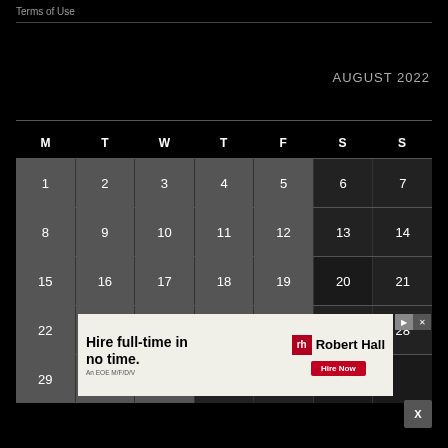Terms of Use
AUGUST 2022
| M | T | W | T | F | S | S |
| --- | --- | --- | --- | --- | --- | --- |
| 1 | 2 | 3 | 4 | 5 | 6 | 7 |
| 8 | 9 | 10 | 11 | 12 | 13 | 14 |
| 15 | 16 | 17 | 18 | 19 | 20 | 21 |
| 22 | 23 | 24 | 25 | 26 | 27 | 28 |
| 29 |  |  |  |  |  |  |
[Figure (other): Advertisement: Hire full-time in no time. Robert Half - Hire Now button.]